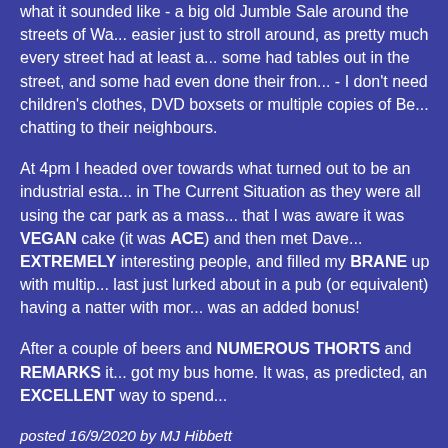what it sounded like - a big old Jumble Sale around the streets of Wa... easier just to stroll around, as pretty much every street had at least a... some had tables out in the street, and some had even done their fron... - I don't need children's clothes, DVD boxsets or multiple copies of Be... chatting to their neighbours.
At 4pm I headed over towards what turned out to be an industrial esta... in The Current Situation as they were all using the car park as a mass... that I was aware it was VEGAN cake (it was ACE) and then met Dave... EXTREMELY interesting people, and filled my BRANE up with multip... last just lurked about in a pub (or equivalent) having a natter with mor... was an added bonus!
After a couple of beers and NUMEROUS THORTS and REMARKS it... got my bus home. It was, as predicted, an EXCELLENT way to spend...
posted 16/9/2020 by MJ Hibbett
< previous
Comments